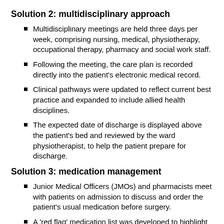Solution 2: multidisciplinary approach
Multidisciplinary meetings are held three days per week, comprising nursing, medical, physiotherapy, occupational therapy, pharmacy and social work staff.
Following the meeting, the care plan is recorded directly into the patient's electronic medical record.
Clinical pathways were updated to reflect current best practice and expanded to include allied health disciplines.
The expected date of discharge is displayed above the patient's bed and reviewed by the ward physiotherapist, to help the patient prepare for discharge.
Solution 3: medication management
Junior Medical Officers (JMOs) and pharmacists meet with patients on admission to discuss and order the patient's usual medication before surgery.
A 'red flag' medication list was developed to highlight which medications require consultation with registrars prior to ordering.
An aperient medication protocol was established, to guide